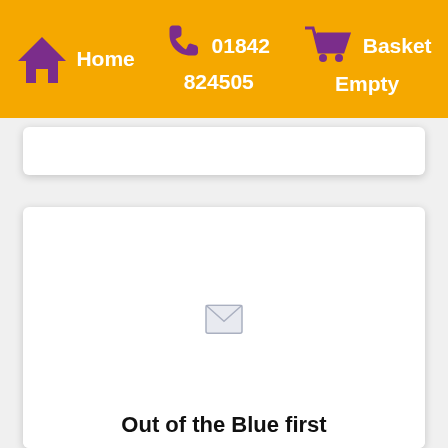Home | 01842 824505 | Basket Empty
[Figure (screenshot): White card panel partially visible at top of page below header]
[Figure (illustration): Small envelope icon centered in a white card panel]
Out of the Blue first